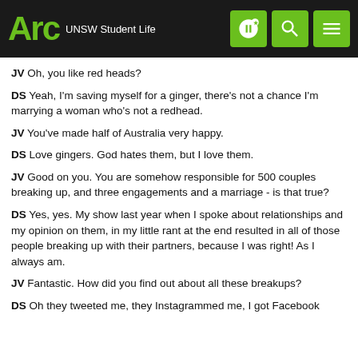Arc UNSW Student Life
JV Oh, you like red heads?
DS Yeah, I'm saving myself for a ginger, there's not a chance I'm marrying a woman who's not a redhead.
JV You've made half of Australia very happy.
DS Love gingers. God hates them, but I love them.
JV Good on you. You are somehow responsible for 500 couples breaking up, and three engagements and a marriage - is that true?
DS Yes, yes. My show last year when I spoke about relationships and my opinion on them, in my little rant at the end resulted in all of those people breaking up with their partners, because I was right! As I always am.
JV Fantastic. How did you find out about all these breakups?
DS Oh they tweeted me, they Instagrammed me, I got Facebook